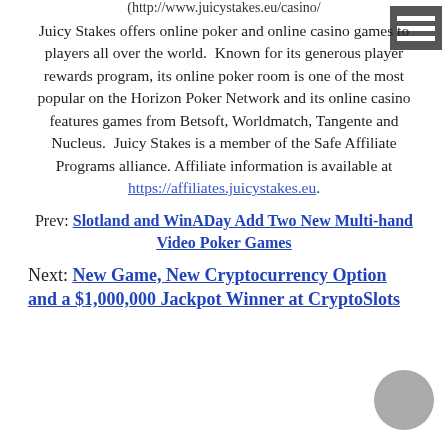(http://www.juicystakes.eu/casino/
Juicy Stakes offers online poker and online casino games to players all over the world. Known for its generous player rewards program, its online poker room is one of the most popular on the Horizon Poker Network and its online casino features games from Betsoft, Worldmatch, Tangente and Nucleus. Juicy Stakes is a member of the Safe Affiliate Programs alliance. Affiliate information is available at https://affiliates.juicystakes.eu.
Prev: Slotland and WinADay Add Two New Multi-hand Video Poker Games
Next: New Game, New Cryptocurrency Option and a $1,000,000 Jackpot Winner at CryptoSlots